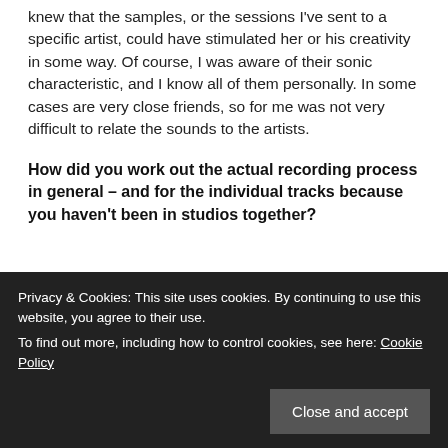knew that the samples, or the sessions I've sent to a specific artist, could have stimulated her or his creativity in some way. Of course, I was aware of their sonic characteristic, and I know all of them personally. In some cases are very close friends, so for me was not very difficult to relate the sounds to the artists.
How did you work out the actual recording process in general – and for the individual tracks because you haven't been in studios together?
Privacy & Cookies: This site uses cookies. By continuing to use this website, you agree to their use. To find out more, including how to control cookies, see here: Cookie Policy
improvisations. I was very picky to select the